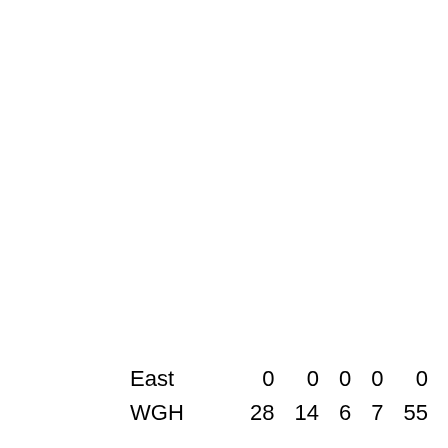| East | 0 | 0 | 0 | 0 | 0 |
| WGH | 28 | 14 | 6 | 7 | 55 |